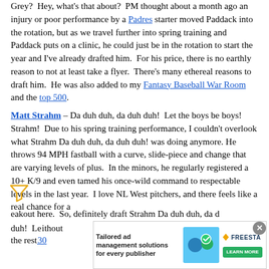Grey?  Hey, what's that about?  PM thought about a month ago an injury or poor performance by a Padres starter moved Paddack into the rotation, but as we travel further into spring training and Paddack puts on a clinic, he could just be in the rotation to start the year and I've already drafted him.  For his price, there is no earthly reason to not at least take a flyer.  There's many ethereal reasons to draft him.  He was also added to my Fantasy Baseball War Room and the top 500.
Matt Strahm – Da duh duh, da duh duh!  Let the boys be boys!  Strahm!  Due to his spring training performance, I couldn't overlook what Strahm Da duh duh, da duh duh! was doing anymore. He throws 94 MPH fastball with a curve, slide-piece and change that are varying levels of plus.  In the minors, he regularly registered a 10+ K/9 and even tamed his once-wild command to respectable levels in the last year.  I love NL West pitchers, and there feels like a real chance for a breakout here.  So, definitely draft Strahm Da duh duh, da duh duh!  Le...ithout the rest...
[Figure (other): Advertisement banner: 'Tailored ad management solutions for every publisher' with Freestar logo and Learn More button, with close button]